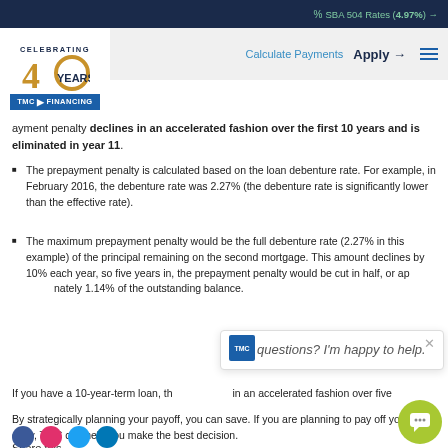% SBA 504 Rates (4.97%) →
[Figure (logo): TMC Financing logo with Celebrating 40 Years text]
...ayment penalty declines in an accelerated fashion over the first 10 years and is eliminated in year 11.
The prepayment penalty is calculated based on the loan debenture rate. For example, in February 2016, the debenture rate was 2.27% (the debenture rate is significantly lower than the effective rate).
The maximum prepayment penalty would be the full debenture rate (2.27% in this example) of the principal remaining on the second mortgage. This amount declines by 10% each year, so five years in, the prepayment penalty would be cut in half, or approximately 1.14% of the outstanding balance.
If you have a 10-year-term loan, th... in an accelerated fashion over five...
By strategically planning your payoff, you can save. If you are planning to pay off your loan early, TMC can help you make the best decision.
Share this...